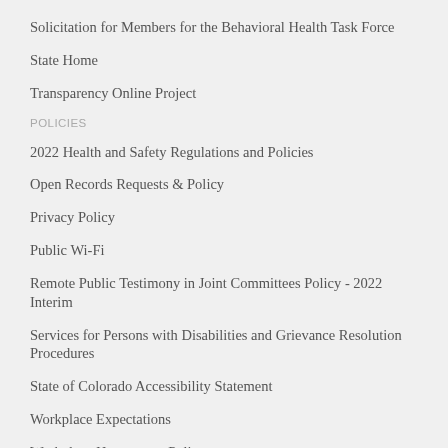Solicitation for Members for the Behavioral Health Task Force
State Home
Transparency Online Project
POLICIES
2022 Health and Safety Regulations and Policies
Open Records Requests & Policy
Privacy Policy
Public Wi-Fi
Remote Public Testimony in Joint Committees Policy - 2022 Interim
Services for Persons with Disabilities and Grievance Resolution Procedures
State of Colorado Accessibility Statement
Workplace Expectations
Workplace Harassment Policy
FOR LEGISLATORS & STAFF